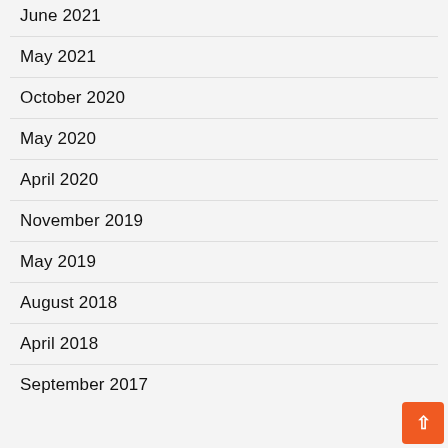June 2021
May 2021
October 2020
May 2020
April 2020
November 2019
May 2019
August 2018
April 2018
September 2017